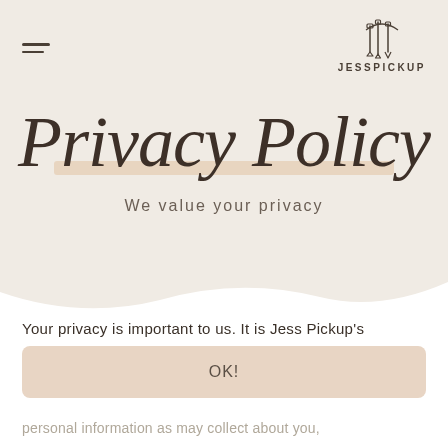JESSPICKUP
Privacy Policy
We value your privacy
Your privacy is important to us. It is Jess Pickup's
OK!
personal information as may collect about you,